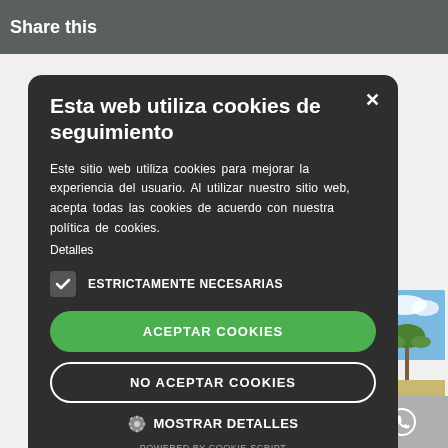Share this
[Figure (screenshot): Cookie consent dialog overlay on a real estate website. Dark rounded modal with title 'Esta web utiliza cookies de seguimiento', body text, checkbox for 'ESTRICTAMENTE NECESARIAS', green 'ACEPTAR COOKIES' button, outlined 'NO ACEPTAR COOKIES' button, gear icon with 'MOSTRAR DETALLES', and 'POWERED BY COOKIE-SCRIPT' footer. Background shows partial property photo and icon buttons.]